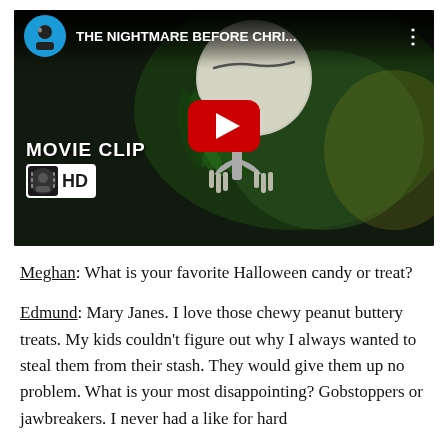[Figure (screenshot): YouTube video thumbnail for 'THE NIGHTMARE BEFORE CHRI...' showing a skeletal figure (Jack Skellington) with a large pale round head and dark foliage, with a red YouTube play button in the center. Channel icon shows Movie Clip HD logo. Bottom-left shows 'MOVIE CLIP' text and 'HD' badge.]
Meghan: What is your favorite Halloween candy or treat?
Edmund: Mary Janes. I love those chewy peanut buttery treats. My kids couldn't figure out why I always wanted to steal them from their stash. They would give them up no problem. What is your most disappointing? Gobstoppers or jawbreakers. I never had a like for hard